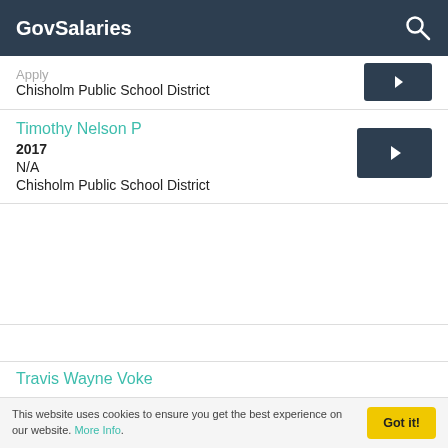GovSalaries
Apply
Chisholm Public School District
Timothy Nelson P
2017
N/A
Chisholm Public School District
Travis Wayne Voke